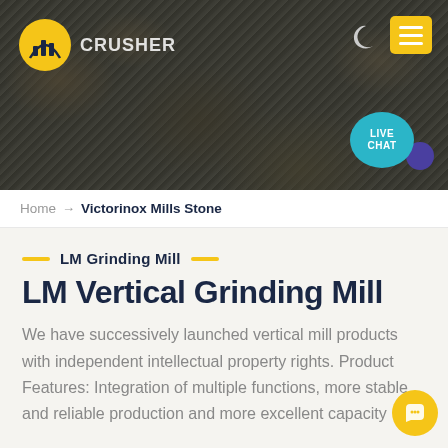[Figure (photo): Hero banner showing a quarry/mining site with heavy crusher machinery against rocky stone background. Logo of crusher company top-left with orange icon and white text 'CRUSHER'. Moon icon and yellow menu button top-right. Live chat bubble bottom-right of banner.]
Home → Victorinox Mills Stone
LM Grinding Mill
LM Vertical Grinding Mill
We have successively launched vertical mill products with independent intellectual property rights. Product Features: Integration of multiple functions, more stable and reliable production and more excellent capacity